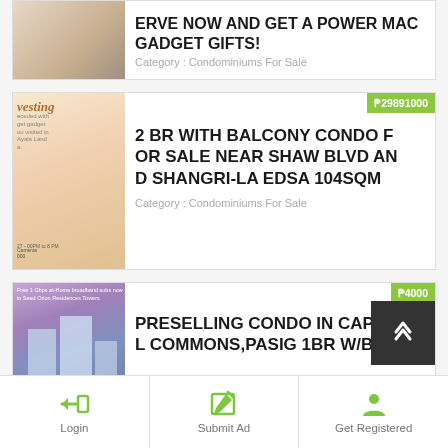ERVE NOW AND GET A POWER MAC GADGET GIFTS!
Category : Condominiums For Sale
₱29891000
2 BR WITH BALCONY CONDO FOR SALE NEAR SHAW BLVD AND SHANGRI-LA EDSA 104SQM
Category : Condominiums For Sale
₱4000
PRESELLING CONDO IN CAPITOL COMMONS,PASIG 1BR W/BALC
Login
Submit Ad
Get Registered